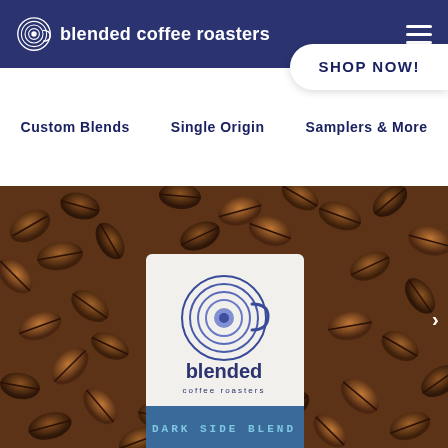blended coffee roasters
SHOP NOW!
Custom Blends
Single Origin
Samplers & More
[Figure (photo): Coffee beans background with a white coffee bag featuring the Blended Coffee Roasters logo and 'DARK SIDE BLEND' label at the bottom]